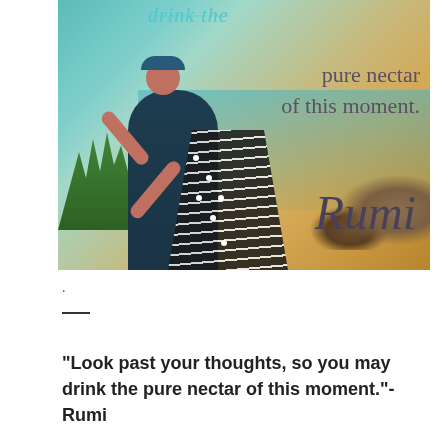[Figure (photo): A person in a black top and striped skirt stretching arms upward at a shoreline with rocks and water in the background. Text overlay reads 'drink the pure nectar of this moment. Rumi']
.
—
"Look past your thoughts, so you may drink the pure nectar of this moment."-Rumi